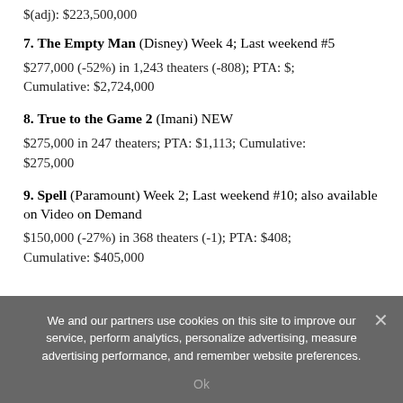$(adj): $223,500,000
7. The Empty Man (Disney) Week 4; Last weekend #5
$277,000 (-52%) in 1,243 theaters (-808); PTA: $; Cumulative: $2,724,000
8. True to the Game 2 (Imani) NEW
$275,000 in 247 theaters; PTA: $1,113; Cumulative: $275,000
9. Spell (Paramount) Week 2; Last weekend #10; also available on Video on Demand
$150,000 (-27%) in 368 theaters (-1); PTA: $408; Cumulative: $405,000
We and our partners use cookies on this site to improve our service, perform analytics, personalize advertising, measure advertising performance, and remember website preferences.